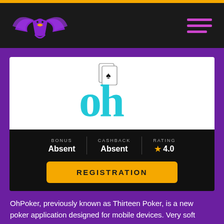[Figure (logo): Purple eagle/phoenix logo with gold accent and the text 'oh' in cyan with playing cards icon - OhPoker brand logo]
[Figure (logo): Three horizontal purple lines forming a hamburger menu icon]
[Figure (logo): OhPoker logo: cyan 'oh' letters with a playing cards icon above, on white background]
BONUS
Absent
CASHBACK
Absent
RATING
4.0
REGISTRATION
OhPoker, previously known as Thirteen Poker, is a new poker application designed for mobile devices. Very soft games are